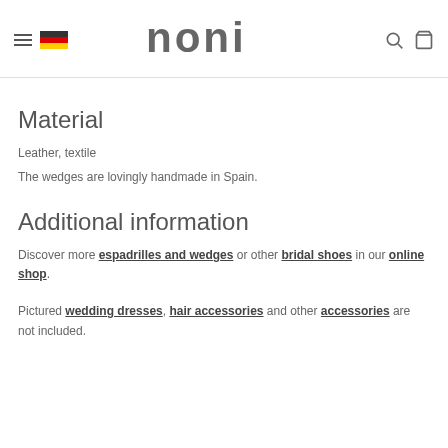noni
Material
Leather, textile
The wedges are lovingly handmade in Spain.
Additional information
Discover more espadrilles and wedges or other bridal shoes in our online shop.
Pictured wedding dresses, hair accessories and other accessories are not included.